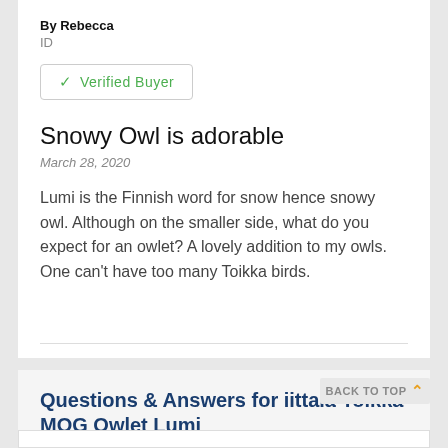By Rebecca
ID
✓ Verified Buyer
Snowy Owl is adorable
March 28, 2020
Lumi is the Finnish word for snow hence snowy owl. Although on the smaller side, what do you expect for an owlet? A lovely addition to my owls. One can't have too many Toikka birds.
Questions & Answers for iittala Toikka MOG Owlet Lumi
BACK TO TOP